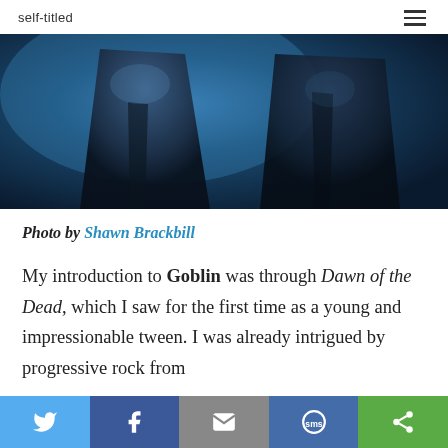self-titled
[Figure (photo): Two people in dark jackets photographed against a blue-tinted background, torsos visible, faces cropped out]
Photo by Shawn Brackbill
My introduction to Goblin was through Dawn of the Dead, which I saw for the first time as a young and impressionable tween. I was already intrigued by progressive rock from